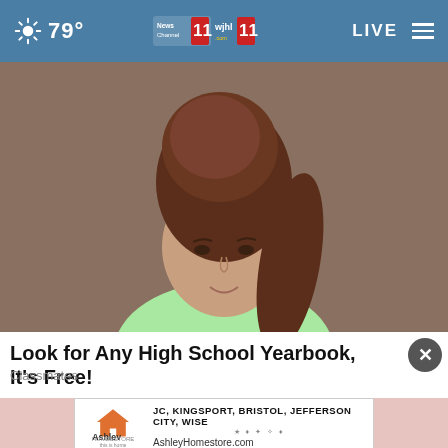79° News Channel 11 wjhl 11 LIVE
[Figure (photo): Vintage colorized high school yearbook photo of a teenage girl with a tall bouffant hairstyle, wearing a light green sweater, posed against a brown background.]
Look for Any High School Yearbook, It's Free!
Classmates
[Figure (advertisement): Ashley HomeStore advertisement with logo, text reading JC, KINGSPORT, BRISTOL, JEFFERSON CITY, WISE and AshleyHomestore.com]